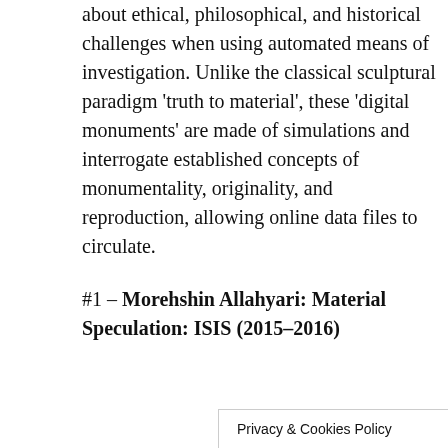about ethical, philosophical, and historical challenges when using automated means of investigation. Unlike the classical sculptural paradigm 'truth to material', these 'digital monuments' are made of simulations and interrogate established concepts of monumentality, originality, and reproduction, allowing online data files to circulate.
#1 – Morehshin Allahyari: Material Speculation: ISIS (2015–2016)
Privacy & Cookies Policy